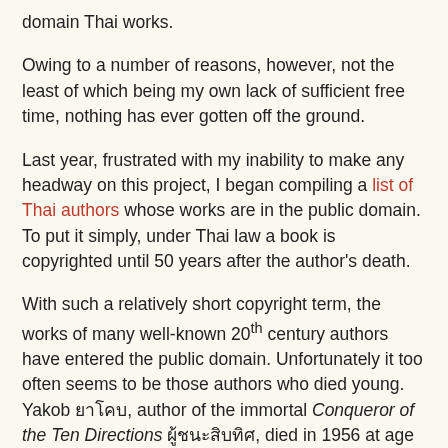domain Thai works.
Owing to a number of reasons, however, not the least of which being my own lack of sufficient free time, nothing has ever gotten off the ground.
Last year, frustrated with my inability to make any headway on this project, I began compiling a list of Thai authors whose works are in the public domain. To put it simply, under Thai law a book is copyrighted until 50 years after the author's death.
With such a relatively short copyright term, the works of many well-known 20th century authors have entered the public domain. Unfortunately it too often seems to be those authors who died young. Yakob ยาโคบ, author of the immortal Conquer of the Ten Directions ผู้ชนะสิบทิศ, died in 1956 at age 48. And two early novelists born in 1905 failed to reach middle age -- Prince Akartdamkoeng ม.จ.อากาศดำเกิง รพีพัฒน์ penned such well-remembered tomes as The Circus of Life สามกรุง before killing himself at 25; while Mai Mueangdoem ไม้ เมืองเดิม, of The Old Wound แผลเก่า fame.